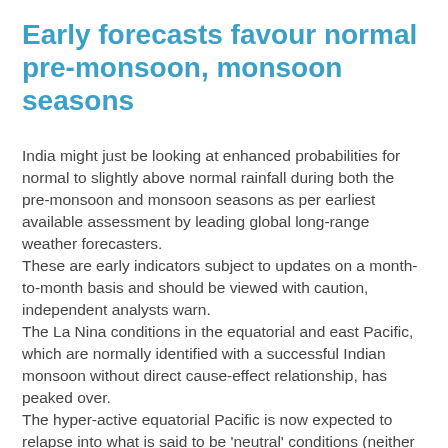Early forecasts favour normal pre-monsoon, monsoon seasons
India might just be looking at enhanced probabilities for normal to slightly above normal rainfall during both the pre-monsoon and monsoon seasons as per earliest available assessment by leading global long-range weather forecasters.
These are early indicators subject to updates on a month-to-month basis and should be viewed with caution, independent analysts warn.
The La Nina conditions in the equatorial and east Pacific, which are normally identified with a successful Indian monsoon without direct cause-effect relationship, has peaked over.
The hyper-active equatorial Pacific is now expected to relapse into what is said to be 'neutral' conditions (neither La Nina nor contra-indicative El Nino) to coincide with the Indian monsoon.
But the very fact that the probabilities of much-feared El